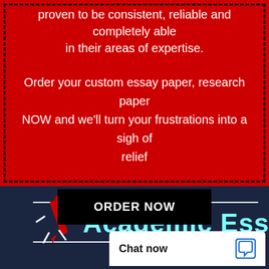proven to be consistent, reliable and completely able in their areas of expertise.
Order your custom essay paper, research paper NOW and we'll turn your frustrations into a sigh of relief
ORDER NOW
[Figure (logo): Academic Essay logo with a pen character illustration and horizontal lines above and below the text on a dark navy background]
Chat now